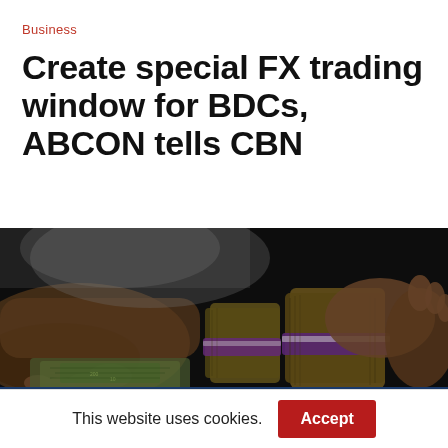Business
Create special FX trading window for BDCs, ABCON tells CBN
[Figure (photo): Hands counting and holding bundles of Nigerian naira currency notes on a dark surface, with rubber-banded stacks of cash visible.]
This website uses cookies.
Accept